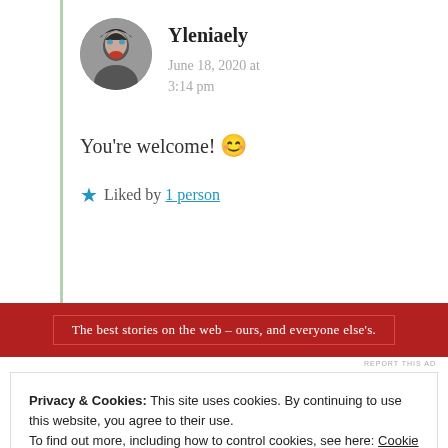[Figure (photo): Circular avatar photo of a woman with dark hair and red lips]
Yleniaely
June 18, 2020 at 3:14 pm
You're welcome! 😊
★ Liked by 1 person
[Figure (infographic): Red advertisement banner: 'The best stories on the web – ours, and everyone else's.']
REPORT THIS AD
Privacy & Cookies: This site uses cookies. By continuing to use this website, you agree to their use. To find out more, including how to control cookies, see here: Cookie Policy
Close and accept